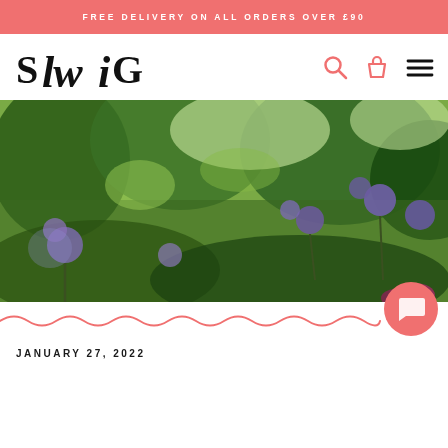FREE DELIVERY ON ALL ORDERS OVER £90
[Figure (logo): SWIG logo in black serif/script font]
[Figure (photo): Garden/vineyard photo with purple wildflowers and green foliage]
JANUARY 27, 2022